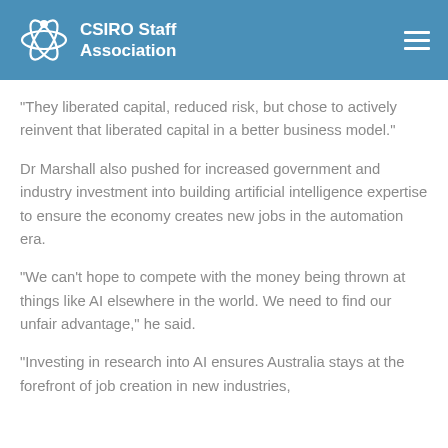CSIRO Staff Association
"They liberated capital, reduced risk, but chose to actively reinvent that liberated capital in a better business model."
Dr Marshall also pushed for increased government and industry investment into building artificial intelligence expertise to ensure the economy creates new jobs in the automation era.
"We can't hope to compete with the money being thrown at things like AI elsewhere in the world. We need to find our unfair advantage," he said.
"Investing in research into AI ensures Australia stays at the forefront of job creation in new industries, predicting and overseeing further development...